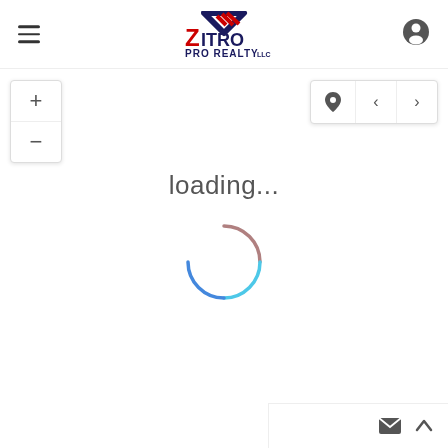[Figure (logo): Zitro Pro Realty LLC logo with red 'Z' and diagonal stripe roof graphic in navy/red, text reads ZITRO PRO REALTY LLC]
[Figure (screenshot): Map interface with hamburger menu icon on left, user account icon on right in header; zoom in/out controls on left; location pin and navigation arrows on right; loading spinner in center with text 'loading...']